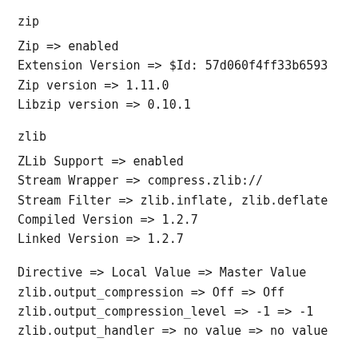zip
Zip => enabled
Extension Version => $Id: 57d060f4ff33b6593
Zip version => 1.11.0
Libzip version => 0.10.1
zlib
ZLib Support => enabled
Stream Wrapper => compress.zlib://
Stream Filter => zlib.inflate, zlib.deflate
Compiled Version => 1.2.7
Linked Version => 1.2.7
Directive => Local Value => Master Value
zlib.output_compression => Off => Off
zlib.output_compression_level => -1 => -1
zlib.output_handler => no value => no value